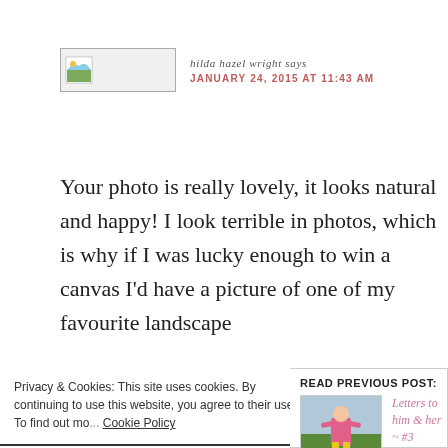[Figure (photo): Avatar image placeholder with small landscape icon]
hilda hazel wright says
JANUARY 24, 2015 AT 11:43 AM
Your photo is really lovely, it looks natural and happy! I look terrible in photos, which is why if I was lucky enough to win a canvas I'd have a picture of one of my favourite landscape
Privacy & Cookies: This site uses cookies. By continuing to use this website, you agree to their use.
To find out mo... Cookie Policy
READ PREVIOUS POST:
[Figure (photo): Small child in pink coat and yellow boots standing in a field]
Letters to him & her ~ #3
him Buba, my little adventure struggle to keep up with you